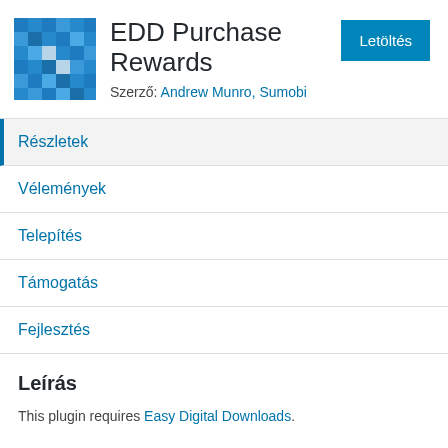[Figure (logo): Blue pixel/mosaic square icon for EDD Purchase Rewards plugin]
EDD Purchase Rewards
Szerző: Andrew Munro, Sumobi
Részletek
Vélemények
Telepítés
Támogatás
Fejlesztés
Leírás
This plugin requires Easy Digital Downloads.